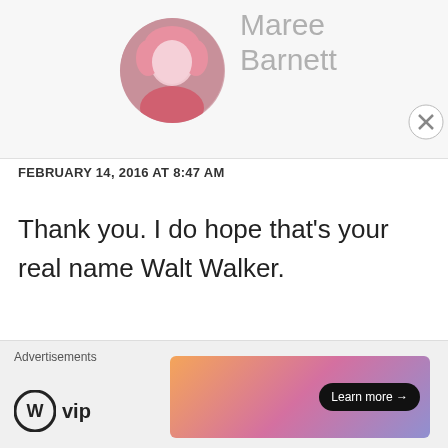Maree Barnett
FEBRUARY 14, 2016 AT 8:47 AM
Thank you. I do hope that's your real name Walt Walker.
Like
REPLY
Advertisements
[Figure (logo): WordPress VIP logo]
Learn more →